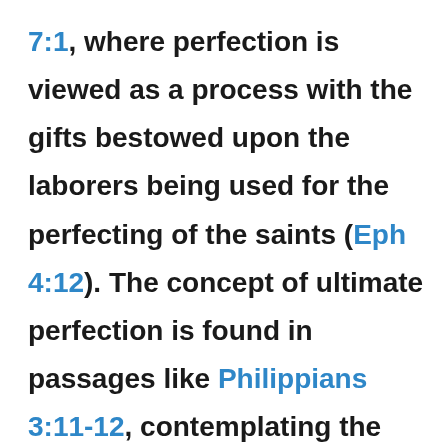7:1, where perfection is viewed as a process with the gifts bestowed upon the laborers being used for the perfecting of the saints (Eph 4:12). The concept of ultimate perfection is found in passages like Philippians 3:11-12, contemplating the results of resurrection from the dead and presentation in heaven. While the concept of ultimate perfection is therefore